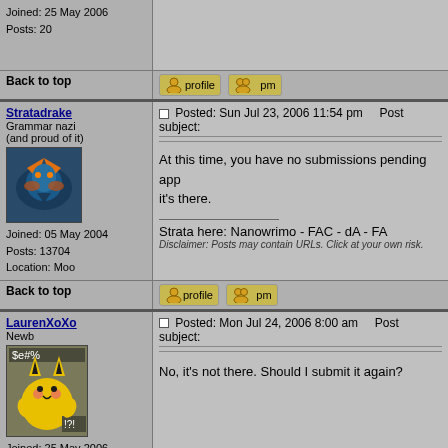| User | Post |
| --- | --- |
| Joined: 25 May 2006
Posts: 20 |  |
| Back to top | [profile] [pm] |
| Stratadrake
Grammar nazi
(and proud of it)
Joined: 05 May 2004
Posts: 13704
Location: Moo | Posted: Sun Jul 23, 2006 11:54 pm   Post subject:
At this time, you have no submissions pending app... it's there.
Strata here: Nanowrimo - FAC - dA - FA
Disclaimer: Posts may contain URLs. Click at your own risk. |
| Back to top | [profile] [pm] |
| LaurenXoXo
Newb
Joined: 25 May 2006
Posts: 20 | Posted: Mon Jul 24, 2006 8:00 am   Post subject:
No, it's not there. Should I submit it again? |
| Back to top | [profile] [pm] |
| Stratadrake
Grammar nazi | Posted: Mon Jul 24, 2006 12:01 pm   Post subject: |